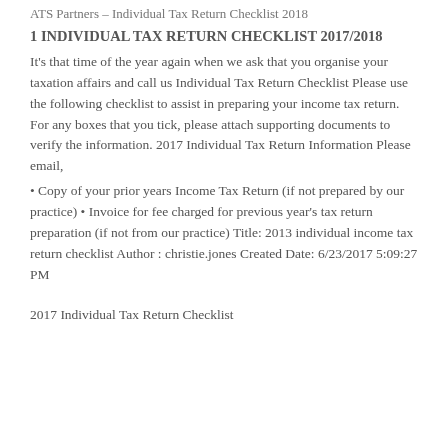ATS Partners – Individual Tax Return Checklist 2018
1 INDIVIDUAL TAX RETURN CHECKLIST 2017/2018
It's that time of the year again when we ask that you organise your taxation affairs and call us Individual Tax Return Checklist Please use the following checklist to assist in preparing your income tax return. For any boxes that you tick, please attach supporting documents to verify the information. 2017 Individual Tax Return Information Please email,
Copy of your prior years Income Tax Return (if not prepared by our practice) • Invoice for fee charged for previous year's tax return preparation (if not from our practice) Title: 2013 individual income tax return checklist Author : christie.jones Created Date: 6/23/2017 5:09:27 PM
2017 Individual Tax Return Checklist